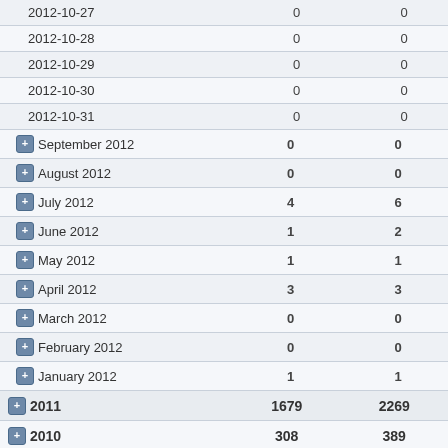|  |  |  |
| --- | --- | --- |
| 2012-10-27 | 0 | 0 |
| 2012-10-28 | 0 | 0 |
| 2012-10-29 | 0 | 0 |
| 2012-10-30 | 0 | 0 |
| 2012-10-31 | 0 | 0 |
| September 2012 | 0 | 0 |
| August 2012 | 0 | 0 |
| July 2012 | 4 | 6 |
| June 2012 | 1 | 2 |
| May 2012 | 1 | 1 |
| April 2012 | 3 | 3 |
| March 2012 | 0 | 0 |
| February 2012 | 0 | 0 |
| January 2012 | 1 | 1 |
| 2011 | 1679 | 2269 |
| 2010 | 308 | 389 |